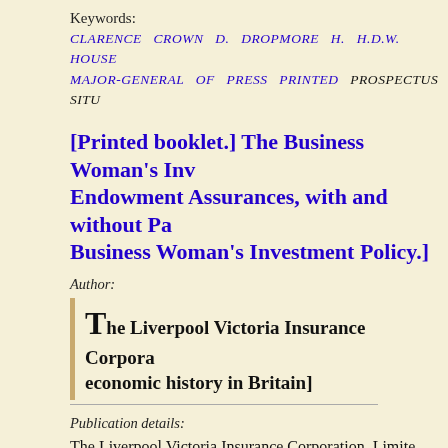Keywords:
CLARENCE CROWN D. DROPMORE H. H.D.W. HOUSE MAJOR-GENERAL OF PRESS PRINTED PROSPECTUS SITU
[Printed booklet.] The Business Woman's Investment Endowment Assurances, with and without Pa... Business Woman's Investment Policy.]
Author:
The Liverpool Victoria Insurance Corporation, Limited [economic history in Britain]
Publication details:
The Liverpool Victoria Insurance Corporation, Limited, London, E.C. 'November 1st, 1910.'
£100.00
20pp. 12mo. Stapled, in grey wraps, printed in purple and green